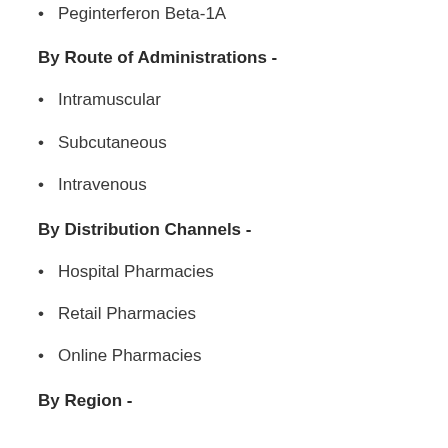Peginterferon Beta-1A
By Route of Administrations -
Intramuscular
Subcutaneous
Intravenous
By Distribution Channels -
Hospital Pharmacies
Retail Pharmacies
Online Pharmacies
By Region -